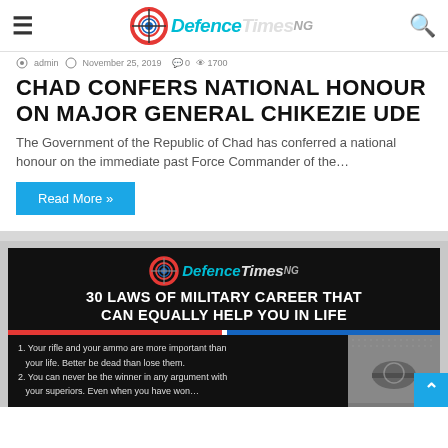DefenceTimesNG — navigation bar with hamburger menu, logo, and search icon
admin  November 25, 2019  0  1700
CHAD CONFERS NATIONAL HONOUR ON MAJOR GENERAL CHIKEZIE UDE
The Government of the Republic of Chad has conferred a national honour on the immediate past Force Commander of the…
Read More »
[Figure (infographic): DefenceTimesNG infographic: 30 LAWS OF MILITARY CAREER THAT CAN EQUALLY HELP YOU IN LIFE. Lists: 1. Your rifle and your ammo are more important than your life. Better be dead than lose them. 2. You can never be the winner in any argument with your superiors. Even when you have won… Right side shows an image of military equipment on dotted background.]